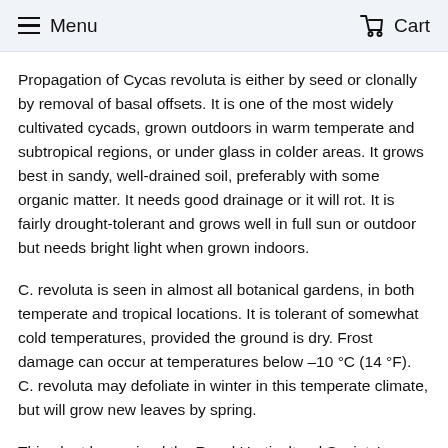Menu  Cart
Propagation of Cycas revoluta is either by seed or clonally by removal of basal offsets. It is one of the most widely cultivated cycads, grown outdoors in warm temperate and subtropical regions, or under glass in colder areas. It grows best in sandy, well-drained soil, preferably with some organic matter. It needs good drainage or it will rot. It is fairly drought-tolerant and grows well in full sun or outdoor but needs bright light when grown indoors.
C. revoluta is seen in almost all botanical gardens, in both temperate and tropical locations. It is tolerant of somewhat cold temperatures, provided the ground is dry. Frost damage can occur at temperatures below –10 °C (14 °F). C. revoluta may defoliate in winter in this temperate climate, but will grow new leaves by spring.
This plant has gained the Royal Horticultural Society's Award of Garden Merit.
Cycad sago is extremely poisonous to animals (including humans) if ingested. Pets are at particular risk, since they seem to find the